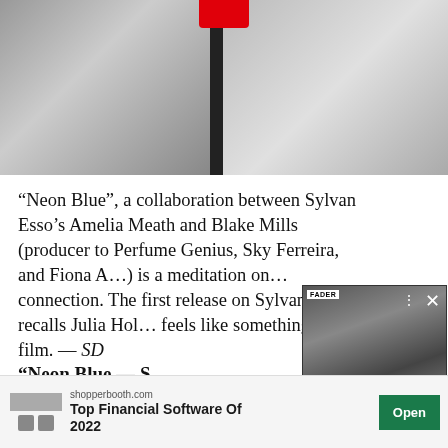[Figure (photo): Two black and white portrait photos side by side separated by a dark divider bar, with a red logo element at top center]
“Neon Blue”, a collaboration between Sylvan Esso’s Amelia Meath and Blake Mills (producer to Perfume Genius, Sky Ferreira, and Fiona A…) is a meditation on… connection. The first release on Sylvan… song recalls Julia Hol… feels like something t… film. — SD
[Figure (photo): Popup overlay showing a black and white group photo with FADER branding label, close button (X), dots menu, and arrow navigation button]
Song You Need: Hunx &His Punxhave reenteredthe room
“Neon Blue — S…
[Figure (other): Advertisement banner: shopperbooth.com Top Financial Software Of 2022 with Open button]